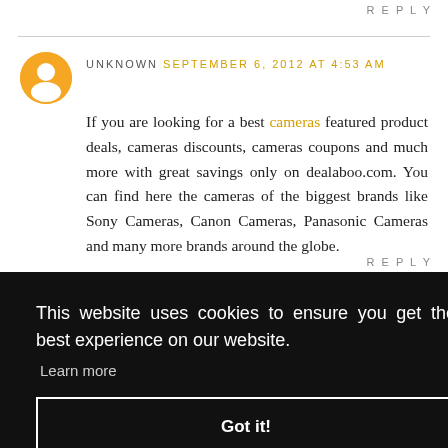REPLY
UNKNOWN SEPTEMBER 6, 2012 AT 4:53 AM
If you are looking for a best cameras featured product deals, cameras discounts, cameras coupons and much more with great savings only on dealaboo.com. You can find here the cameras of the biggest brands like Sony Cameras, Canon Cameras, Panasonic Cameras and many more brands around the globe.
REPLY
This website uses cookies to ensure you get the best experience on our website. Learn more Got it!